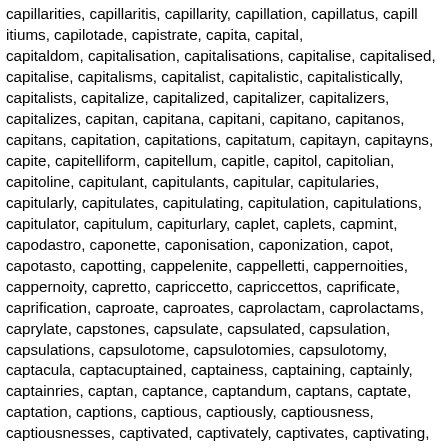capillarities, capillaritis, capillarity, capillation, capillatus, capillitiums, capilotade, capistrate, capita, capital, capitaldom, capitalisation, capitalisations, capitalise, capitalised, capitalise, capitalisms, capitalist, capitalistic, capitalistically, capitalists, capitalize, capitalized, capitalizer, capitalizers, capitalizes, capitan, capitana, capitani, capitano, capitanos, capitans, capitation, capitations, capitatum, capitayn, capitayns, capite, capitelliform, capitellum, capitle, capitol, capitolian, capitoline, capitulant, capitulants, capitular, capitularies, capitularly, capitulates, capitulating, capitulation, capitulations, capitulator, capitulum, capiturlary, caplet, caplets, capmint, capodastro, caponette, caponisation, caponization, capot, capotasto, capotting, cappelenite, cappelletti, cappernoities, cappernoity, capretto, capriccetto, capriccettos, caprificate, caprification, caproate, caproates, caprolactam, caprolactams, caprylate, capstones, capsulate, capsulated, capsulation, capsulations, capsulotome, capsulotomies, capsulotomy, captacula, captained, captainess, captaining, captainly, captainries, captan, captance, captandum, captans, captate, captation, captions, captious, captiously, captiousness, captiousnesses, captivated, captivately, captivates, captivating, captivatingly, captivators, captivatrix, captivaunce, captivaunces, captive, captivity, captopril, captoprils, captor, captors, captress, capturers, captures, capturing, capulet, caput, caputium, caquetoire, caquetoires, caracolite, caract, caracter, caracts,